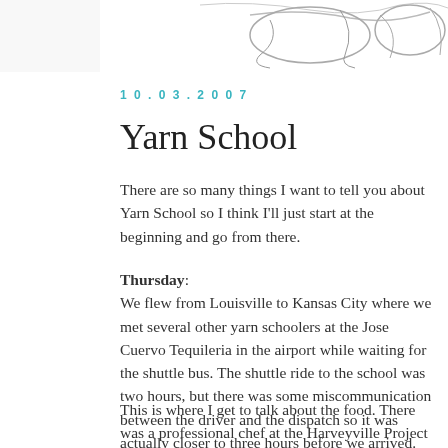[Figure (illustration): Sketch/line drawing illustration at the top of the blog page, partially visible, showing abstract or decorative shapes in black and white.]
10.03.2007
Yarn School
There are so many things I want to tell you about Yarn School so I think I'll just start at the beginning and go from there.
Thursday:
We flew from Louisville to Kansas City where we met several other yarn schoolers at the Jose Cuervo Tequileria in the airport while waiting for the shuttle bus. We were told that the shuttle ride to the school was two hours, but there was some miscommunication between the driver and the dispatch so it was actually closer to three hours before we arrived. Once we arrived at the schools, we were given our room assignments and we all had the chance to go exploring around the two schools and meet each other. Thursday's dinner was hor'dourves and cocktails.
This is where I get to talk about the food. There was a professional chef at the Harveyville Project so the meals were nothing short of amazing.